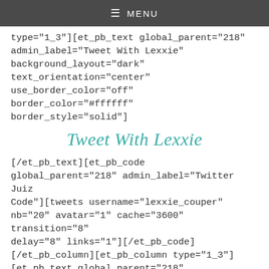≡ MENU
type="1_3"][et_pb_text global_parent="218" admin_label="Tweet With Lexxie" background_layout="dark" text_orientation="center" use_border_color="off" border_color="#ffffff" border_style="solid"]
Tweet With Lexxie
[/et_pb_text][et_pb_code global_parent="218" admin_label="Twitter Juiz Code"][tweets username="lexxie_couper" nb="20" avatar="1" cache="3600" transition="8" delay="8" links="1"][/et_pb_code] [/et_pb_column][et_pb_column type="1_3"] [et_pb_text global_parent="218" admin_label="Logo" background_layout="light"